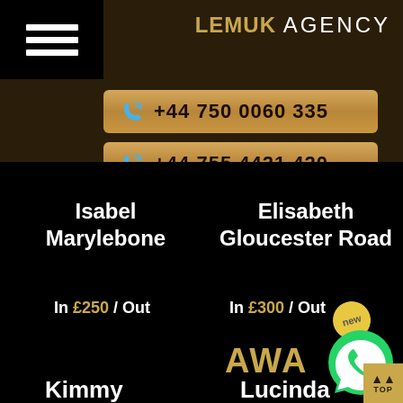LEMUK AGENCY
+44 750 0060 335
+44 755 4421 420
Isabel Marylebone
Elisabeth Gloucester Road
In £250 / Out £300
In £300 / Out £350
AWA
Kimmy
Lucinda